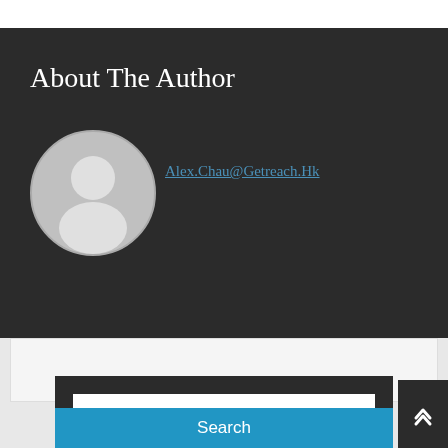About The Author
Alex.Chau@Getreach.Hk
[Figure (illustration): Default grey avatar/profile picture showing a silhouette of a person on a circular grey background]
Search the site
Search